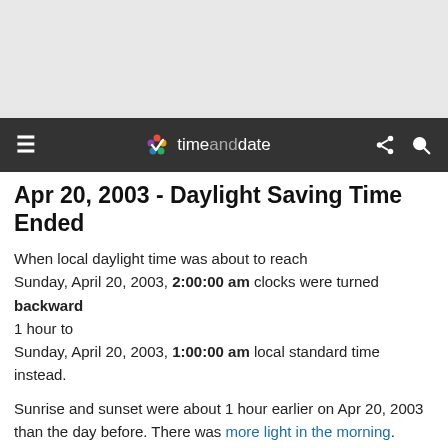[Figure (screenshot): Gray top banner area (ad/header space)]
timeanddate navigation bar with hamburger menu, timeanddate logo, share and search icons
Apr 20, 2003 - Daylight Saving Time Ended
When local daylight time was about to reach Sunday, April 20, 2003, 2:00:00 am clocks were turned backward 1 hour to Sunday, April 20, 2003, 1:00:00 am local standard time instead.
Sunrise and sunset were about 1 hour earlier on Apr 20, 2003 than the day before. There was more light in the morning.
Also called Fall Back and Winter Time.
[Figure (illustration): Analog clock showing time transition, with play button to animate the clock going backward]